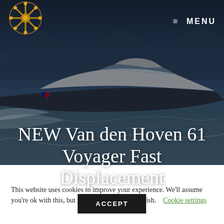[Figure (photo): Hero image of a Van den Hoven 61 Voyager Fast Displacement yacht speeding on water with dark overlay, ship wheel logo top left, MENU top right]
≡ MENU
NEW Van den Hoven 61 Voyager Fast Displacement
AUGUST 21, 2019 BY CAPTAIN AJ
This website uses cookies to improve your experience. We'll assume you're ok with this, but you can opt-out if you wish.
Cookie settings
ACCEPT